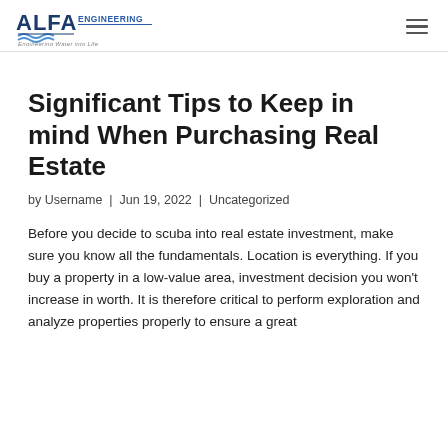[Figure (logo): ALFA Engineering logo with wave design and tagline 'Engineering Water into Life']
Significant Tips to Keep in mind When Purchasing Real Estate
by Username | Jun 19, 2022 | Uncategorized
Before you decide to scuba into real estate investment, make sure you know all the fundamentals. Location is everything. If you buy a property in a low-value area, investment decision you won't increase in worth. It is therefore critical to perform exploration and analyze properties properly to ensure a great